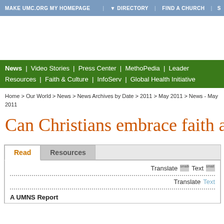MAKE UMC.ORG MY HOMEPAGE | ▼ DIRECTORY | FIND A CHURCH | S
News | Video Stories | Press Center | MethoPedia | Leader Resources | Faith & Culture | InfoServ | Global Health Initiative
Home > Our World > News > News Archives by Date > 2011 > May 2011 > News - May 2011
Can Christians embrace faith and
Read    Resources
Translate   Text  [smaller] [small]
Translate   Text
A UMNS Report